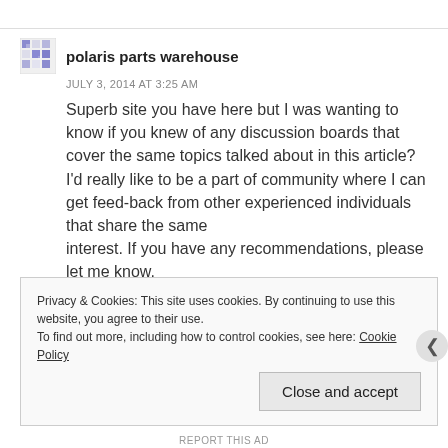polaris parts warehouse
JULY 3, 2014 AT 3:25 AM
Superb site you have here but I was wanting to know if you knew of any discussion boards that cover the same topics talked about in this article?
I'd really like to be a part of community where I can get feed-back from other experienced individuals that share the same
interest. If you have any recommendations, please let me know.
Cheers!
Privacy & Cookies: This site uses cookies. By continuing to use this website, you agree to their use.
To find out more, including how to control cookies, see here: Cookie Policy
Close and accept
REPORT THIS AD